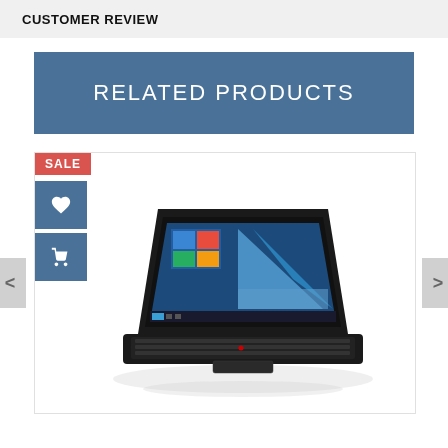CUSTOMER REVIEW
RELATED PRODUCTS
[Figure (screenshot): Product listing card showing a Lenovo ThinkPad laptop with a SALE badge, heart/wishlist icon button, cart icon button, and left/right navigation arrows.]